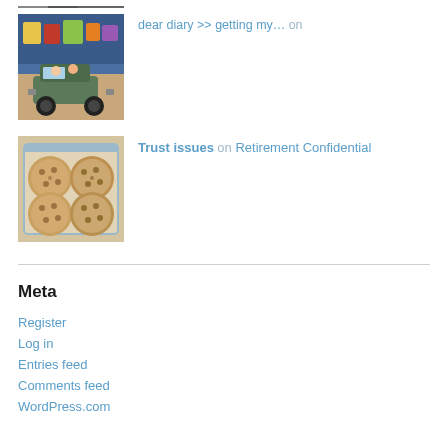[Figure (photo): Partial thumbnail of an image at the top of the page (cropped)]
[Figure (photo): Thumbnail photo of toys including a toy jeep/vehicle with figurines]
dear diary >> getting my… on
[Figure (photo): Thumbnail photo of cookies or biscuits in a plastic zip-lock bag]
Trust issues on Retirement Confidential
Meta
Register
Log in
Entries feed
Comments feed
WordPress.com